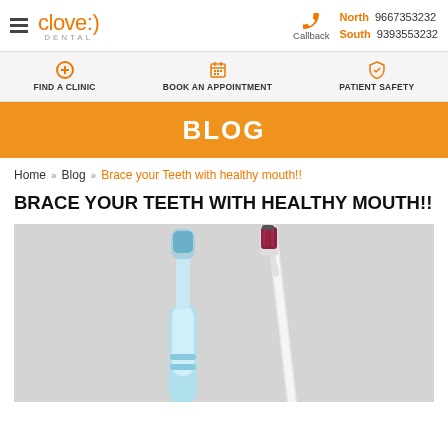clove:) DENTAL — North 9667353232 South 9393553232 — Callback
FIND A CLINIC | BOOK AN APPOINTMENT | PATIENT SAFETY
BLOG
Home » Blog » Brace your Teeth with healthy mouth!!
BRACE YOUR TEETH WITH HEALTHY MOUTH!!
[Figure (photo): Two toothbrushes on a grey background — one electric (blue handle) and one manual (white handle with dark red bristles)]